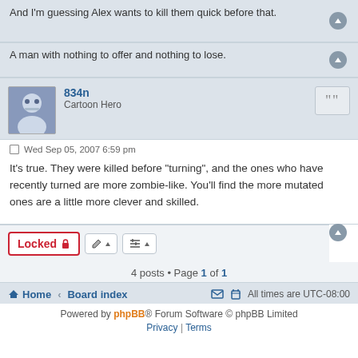And I'm guessing Alex wants to kill them quick before that.
A man with nothing to offer and nothing to lose.
834n
Cartoon Hero
Wed Sep 05, 2007 6:59 pm
It's true. They were killed before "turning", and the ones who have recently turned are more zombie-like. You'll find the more mutated ones are a little more clever and skilled.
4 posts • Page 1 of 1
Home · Board index | All times are UTC-08:00
Powered by phpBB® Forum Software © phpBB Limited
Privacy | Terms